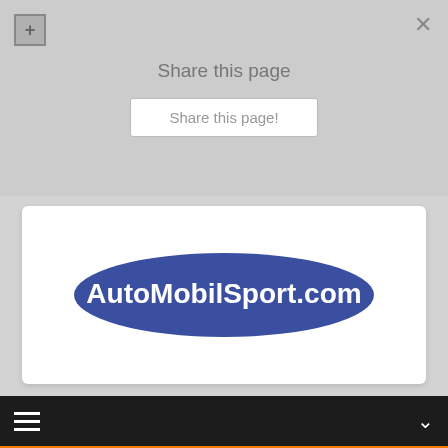Share this page
Share this page!
[Figure (logo): AutoMobilSport.com logo — blue oval with white text]
[Figure (screenshot): Navigation bar with hamburger menu icon and chevron on dark background]
New Galleries
search all galleries
[Figure (photo): Canoe athlete paddling in whitewater rapids]
CANOE WORLD CUP 2021 PRAGUE photos by Strogoff Pragensis on AutoMobilSport.com